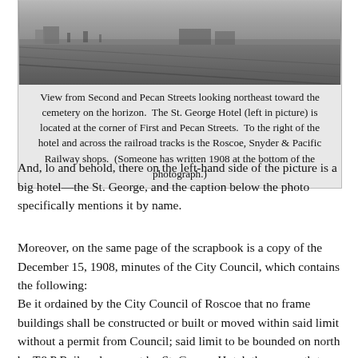[Figure (photo): Black and white photograph showing a view from Second and Pecan Streets looking northeast toward a cemetery on the horizon, with the St. George Hotel visible on the left and Roscoe, Snyder & Pacific Railway shops to the right across the railroad tracks.]
View from Second and Pecan Streets looking northeast toward the cemetery on the horizon.  The St. George Hotel (left in picture) is located at the corner of First and Pecan Streets.  To the right of the hotel and across the railroad tracks is the Roscoe, Snyder & Pacific Railway shops.  (Someone has written 1908 at the bottom of the photograph.)
And, lo and behold, there on the left-hand side of the picture is a big hotel—the St. George, and the caption below the photo specifically mentions it by name.
Moreover, on the same page of the scrapbook is a copy of the December 15, 1908, minutes of the City Council, which contains the following:
Be it ordained by the City Council of Roscoe that no frame buildings shall be constructed or built or moved within said limit without a permit from Council; said limit to be bounded on north by T&P Railroad, on east by St. George Hotel, thence south to 3rd Street, thence west to Moon Shop.